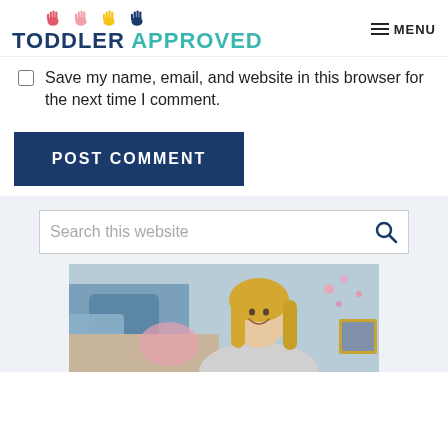TODDLER APPROVED | MENU
Save my name, email, and website in this browser for the next time I comment.
POST COMMENT
Search this website
[Figure (photo): Photo of a smiling blonde woman sitting in a room with blue and pink pillows and decorations in the background.]